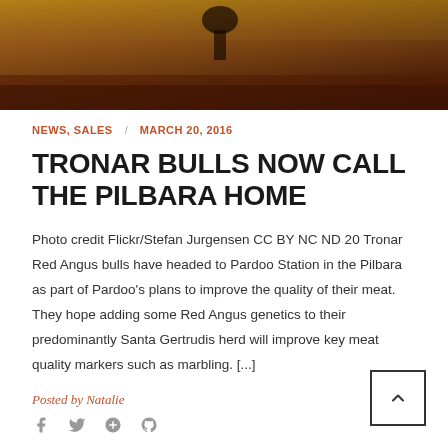[Figure (photo): Outdoor photo banner showing a red dirt road or outback landscape with warm golden/brown tones, partial view of a person/animal silhouette at top]
NEWS, SALES  /  MARCH 20, 2016
TRONAR BULLS NOW CALL THE PILBARA HOME
Photo credit Flickr/Stefan Jurgensen CC BY NC ND 20 Tronar Red Angus bulls have headed to Pardoo Station in the Pilbara as part of Pardoo's plans to improve the quality of their meat. They hope adding some Red Angus genetics to their predominantly Santa Gertrudis herd will improve key meat quality markers such as marbling. [...]
Posted by Natalie